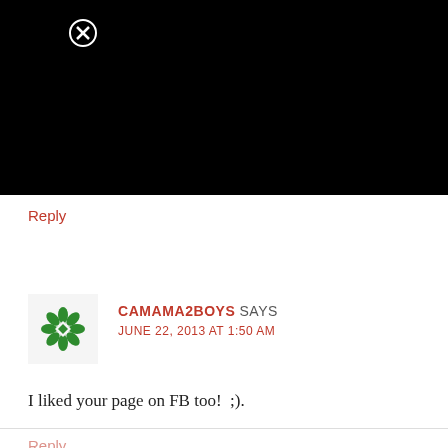[Figure (screenshot): Black rectangle area with a close/cancel button (circle with X) in the upper left area]
Reply
[Figure (illustration): Green decorative snowflake/mandala avatar icon for user camama2boys]
CAMAMA2BOYS SAYS JUNE 22, 2013 AT 1:50 AM
I liked your page on FB too! ;).
Reply